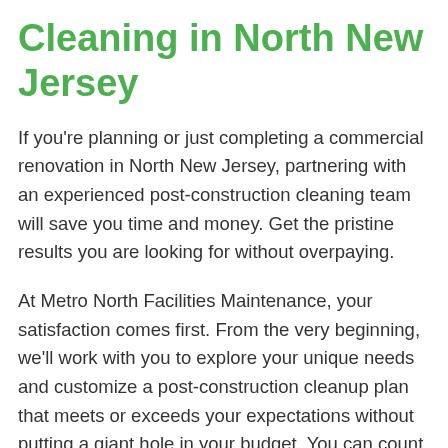Cleaning in North New Jersey
If you're planning or just completing a commercial renovation in North New Jersey, partnering with an experienced post-construction cleaning team will save you time and money. Get the pristine results you are looking for without overpaying.
At Metro North Facilities Maintenance, your satisfaction comes first. From the very beginning, we'll work with you to explore your unique needs and customize a post-construction cleanup plan that meets or exceeds your expectations without putting a giant hole in your budget. You can count on us